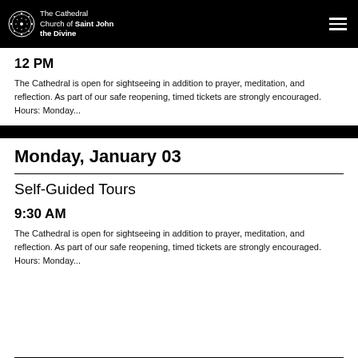The Cathedral Church of Saint John the Divine
12 PM
The Cathedral is open for sightseeing in addition to prayer, meditation, and reflection. As part of our safe reopening, timed tickets are strongly encouraged. Hours: Monday...
Monday, January 03
Self-Guided Tours
9:30 AM
The Cathedral is open for sightseeing in addition to prayer, meditation, and reflection. As part of our safe reopening, timed tickets are strongly encouraged. Hours: Monday...